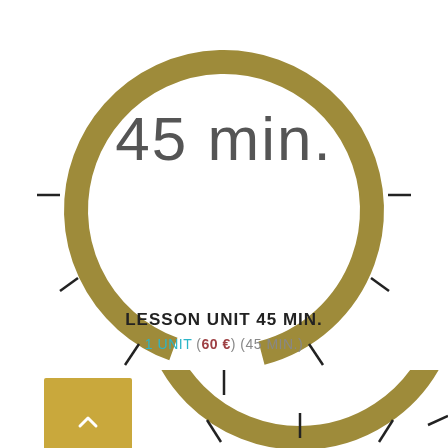[Figure (other): A circular timer dial showing 45 minutes, rendered as a thick golden-olive arc (about 3/4 of a full circle, from upper-left clockwise to bottom), with tick marks radiating outward at regular intervals around the bottom half. The number '45 min.' is displayed in large thin text inside the upper portion of the circle.]
LESSON UNIT 45 MIN.
1 UNIT (60 €) (45 MIN.)
[Figure (other): A partial view of a second circular timer dial at the bottom of the page, similar golden-olive arc style, with tick marks visible. A golden square button with an upward chevron (^) is visible on the left side.]